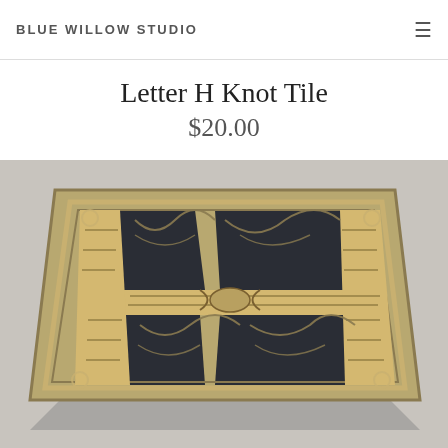BLUE WILLOW STUDIO
Letter H Knot Tile
$20.00
[Figure (photo): A ceramic tile featuring the letter H rendered in Celtic knotwork design. The tile has a sandy/tan raised knotwork pattern against a dark charcoal/black background, with an ornate interlaced border around all four sides. The tile is photographed at an angle on a light gray surface, showing its three-dimensional raised relief texture.]